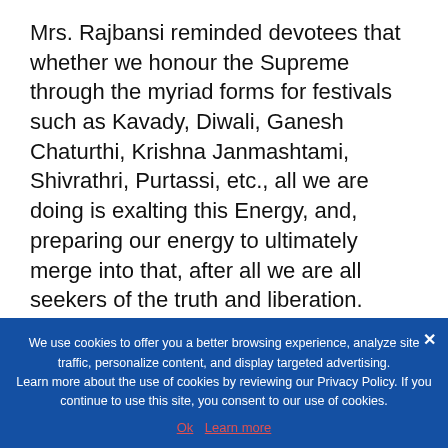Mrs. Rajbansi reminded devotees that whether we honour the Supreme through the myriad forms for festivals such as Kavady, Diwali, Ganesh Chaturthi, Krishna Janmashtami, Shivrathri, Purtassi, etc., all we are doing is exalting this Energy, and, preparing our energy to ultimately merge into that, after all we are all seekers of the truth and liberation.
Share this:
[Figure (infographic): Row of social sharing icon buttons: Facebook (blue), LinkedIn (blue), Reddit (light gray), Twitter (light blue), Tumblr (dark blue-gray), Pinterest (red), WhatsApp (green), Print (gray)]
We use cookies to offer you a better browsing experience, analyze site traffic, personalize content, and display targeted advertising. Learn more about the use of cookies by reviewing our Privacy Policy. If you continue to use this site, you consent to our use of cookies.
Ok  Learn more